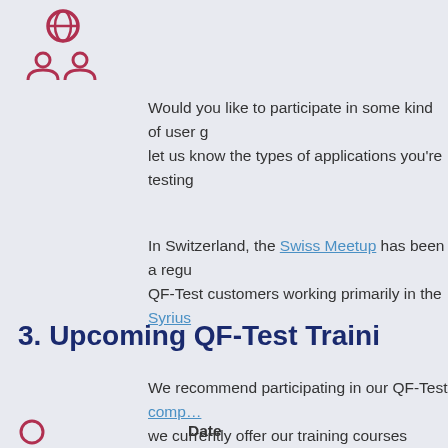[Figure (illustration): Red icon showing a globe with two user/person figures beneath it, representing user groups or community]
Would you like to participate in some kind of user g... let us know the types of applications you're testing...
In Switzerland, the Swiss Meetup has been a regu... QF-Test customers working primarily in the Syrius...
3. Upcoming QF-Test Traini...
We recommend participating in our QF-Test compa... we currently offer our training courses exclusively...
Date